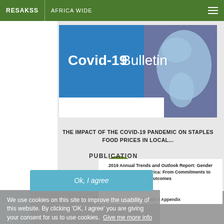RESAKSS  AFRICA WIDE
[Figure (screenshot): Covid-19 Bulletin banner with blue background and Africa map overlay]
THE IMPACT OF THE COVID-19 PANDEMIC ON STAPLES FOOD PRICES IN LOCAL...
PDF
PUBLICATION
We use cookies on this site to improve the usability of this website. By clicking 'OK, I agree' you are giving your consent for us to use cookies.  Give me more info
2019 Annual Trends and Outlook Report: Gender Equality in Rural Africa: From Commitments to Outcomes
Ok, I agree
Chapter 8 Appendix